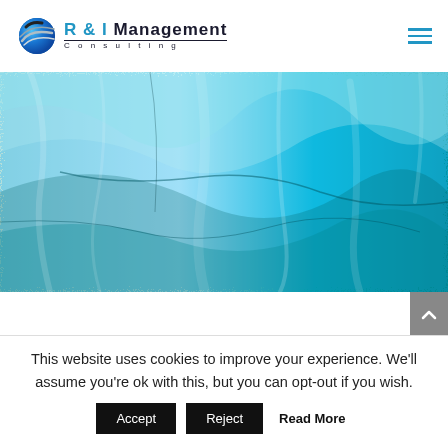[Figure (logo): R & I Management Consulting logo with a blue globe/swoosh icon and company name]
[Figure (photo): Abstract blue and white textured paint or ice background image spanning full width]
This website uses cookies to improve your experience. We'll assume you're ok with this, but you can opt-out if you wish.
Accept   Reject   Read More